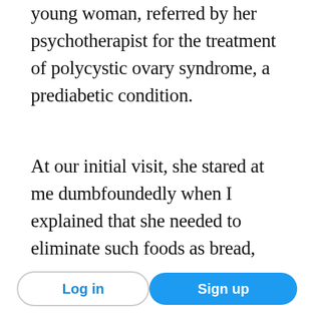young woman, referred by her psychotherapist for the treatment of polycystic ovary syndrome, a prediabetic condition.
At our initial visit, she stared at me dumbfoundedly when I explained that she needed to eliminate such foods as bread, pasta, potatoes, and fruit most of all, and that she had to avoid late night snacks. At the second visit, accompanied by her mother, she proudly recited her newly changed diet history, which did not include a single forbidden food. Yet she had added 13 pounds to her already obese frame. Now it was my turn to be dumbfounded. When I suggested
Log in | Sign up